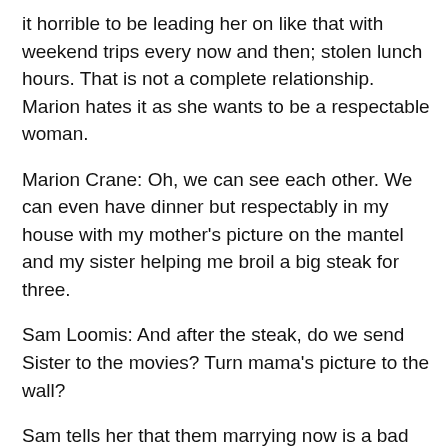it horrible to be leading her on like that with weekend trips every now and then; stolen lunch hours. That is not a complete relationship. Marion hates it as she wants to be a respectable woman.
Marion Crane: Oh, we can see each other. We can even have dinner but respectably in my house with my mother's picture on the mantel and my sister helping me broil a big steak for three.
Sam Loomis: And after the steak, do we send Sister to the movies? Turn mama's picture to the wall?
Sam tells her that them marrying now is a bad idea, but Marion doesn't care. She would do it all for him. He jokes that maybe she should move on, but when she agrees he quickly is worried. They part on good terms, making plans